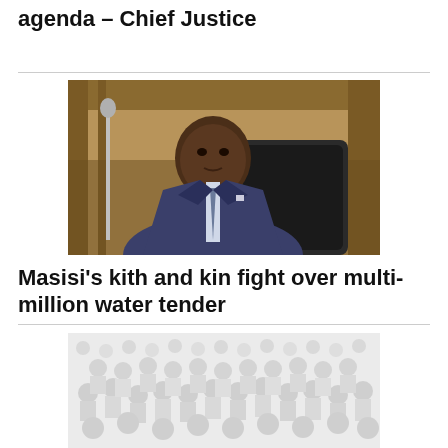Justice Ntelogetse pushing a political agenda – Chief Justice
[Figure (photo): Portrait photo of a man in a blue suit seated at what appears to be a formal hearing or meeting room with wooden paneling in the background]
Masisi's kith and kin fight over multi-million water tender
[Figure (photo): A large crowd of people gathered, image appears faded/grayscale]